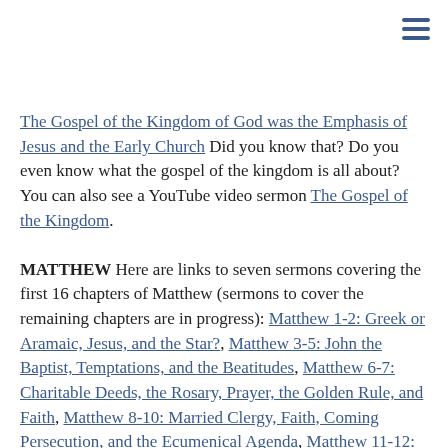The Gospel of the Kingdom of God was the Emphasis of Jesus and the Early Church Did you know that? Do you even know what the gospel of the kingdom is all about? You can also see a YouTube video sermon The Gospel of the Kingdom. MATTHEW Here are links to seven sermons covering the first 16 chapters of Matthew (sermons to cover the remaining chapters are in progress): Matthew 1-2: Greek or Aramaic, Jesus, and the Star?, Matthew 3-5: John the Baptist, Temptations, and the Beatitudes, Matthew 6-7: Charitable Deeds, the Rosary, Prayer, the Golden Rule, and Faith, Matthew 8-10: Married Clergy, Faith, Coming Persecution, and the Ecumenical Agenda, Matthew 11-12: John the Elijah, Sodom, Unpardonable Sin, & 3 Days and 3 Nights, Matthew 13-14: Parables, Mustard Seeds, Birthdays, and Faith, and Matthew 15-